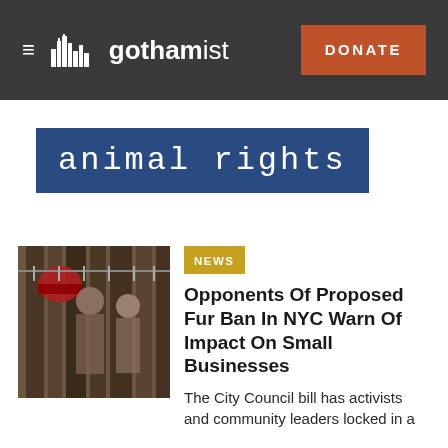gothamist — DONATE
animal rights
[Figure (photo): Photo of people working in a fur or garment workshop]
Opponents Of Proposed Fur Ban In NYC Warn Of Impact On Small Businesses
The City Council bill has activists and community leaders locked in a